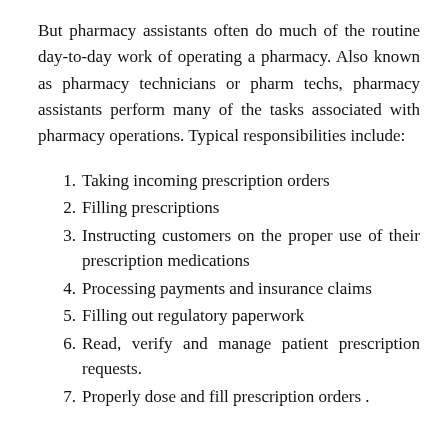But pharmacy assistants often do much of the routine day-to-day work of operating a pharmacy. Also known as pharmacy technicians or pharm techs, pharmacy assistants perform many of the tasks associated with pharmacy operations. Typical responsibilities include:
Taking incoming prescription orders
Filling prescriptions
Instructing customers on the proper use of their prescription medications
Processing payments and insurance claims
Filling out regulatory paperwork
Read, verify and manage patient prescription requests.
Properly dose and fill prescription orders .